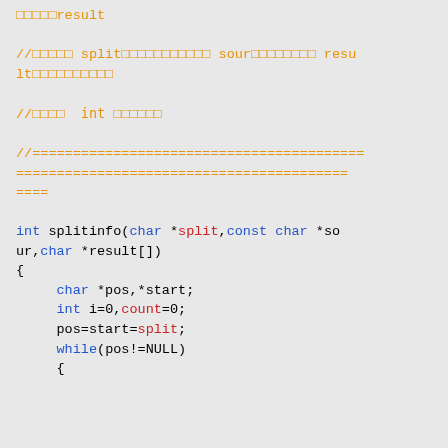Code snippet showing splitinfo function with comments in Chinese and C code implementation